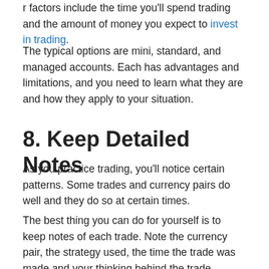r factors include the time you'll spend trading and the amount of money you expect to invest in trading.
The typical options are mini, standard, and managed accounts. Each has advantages and limitations, and you need to learn what they are and how they apply to your situation.
8. Keep Detailed Notes
As you practice trading, you'll notice certain patterns. Some trades and currency pairs do well and they do so at certain times.
The best thing you can do for yourself is to keep notes of each trade. Note the currency pair, the strategy used, the time the trade was made and your thinking behind the trade.